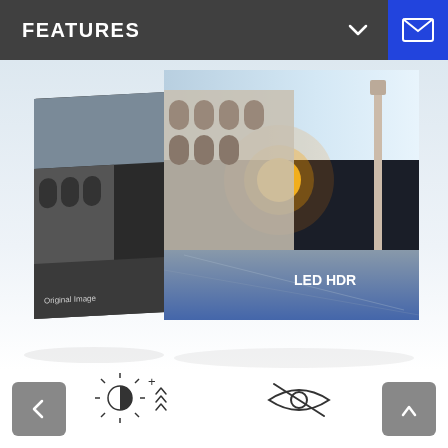FEATURES
[Figure (photo): Two display screens showing comparison between 'Original Image' (darker, desaturated image of Venice piazza) and 'LED HDR' (brighter, more vibrant and detailed image of the same Venice piazza scene with warm sunset light).]
[Figure (illustration): Icon: sun/brightness with half-filled circle and upward arrows indicating increased brightness]
[Figure (illustration): Icon: eye with a diagonal line through it, indicating reduced eye strain or anti-glare feature]
[Figure (illustration): Navigation left arrow button (back)]
[Figure (illustration): Navigation right/up arrow button (forward/up)]